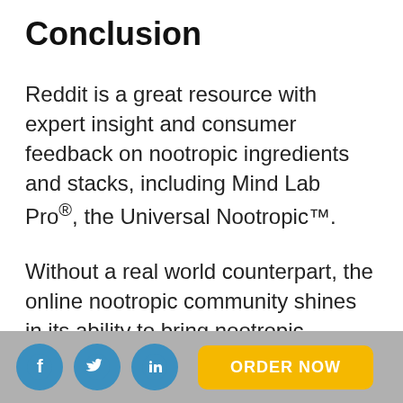Conclusion
Reddit is a great resource with expert insight and consumer feedback on nootropic ingredients and stacks, including Mind Lab Pro®, the Universal Nootropic™.
Without a real world counterpart, the online nootropic community shines in its ability to bring nootropic hobbyists and
ORDER NOW [social icons: Facebook, Twitter, LinkedIn]